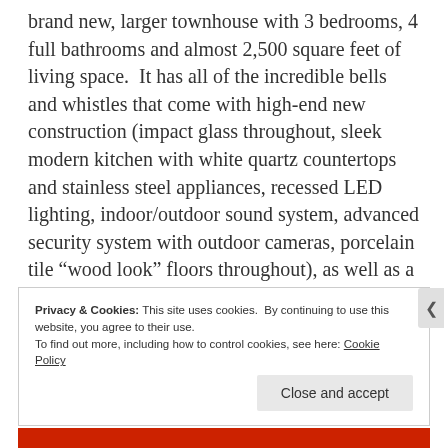brand new, larger townhouse with 3 bedrooms, 4 full bathrooms and almost 2,500 square feet of living space. It has all of the incredible bells and whistles that come with high-end new construction (impact glass throughout, sleek modern kitchen with white quartz countertops and stainless steel appliances, recessed LED lighting, indoor/outdoor sound system, advanced security system with outdoor cameras, porcelain tile “wood look” floors throughout), as well as a large rooftop patio with wet bar, two A/C zones, and a spacious backyard with a heated saltwater pool. We had a ton of interest right from the get-go, and within just a couple weeks we received a full priced offer for $6,200 per month!
Privacy & Cookies: This site uses cookies. By continuing to use this website, you agree to their use. To find out more, including how to control cookies, see here: Cookie Policy
Close and accept